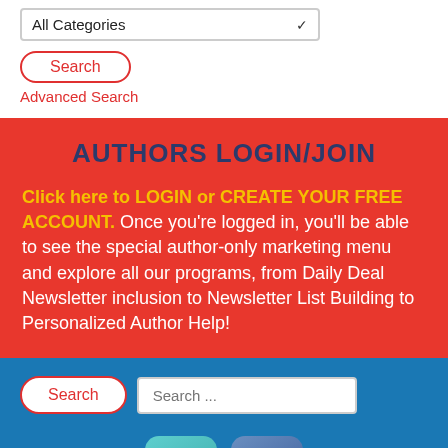All Categories
Search
Advanced Search
AUTHORS LOGIN/JOIN
Click here to LOGIN or CREATE YOUR FREE ACCOUNT. Once you're logged in, you'll be able to see the special author-only marketing menu and explore all our programs, from Daily Deal Newsletter inclusion to Newsletter List Building to Personalized Author Help!
Search
Search ...
[Figure (illustration): Twitter bird icon (teal rounded square) and Facebook 'f' icon (blue rounded square) social media buttons]